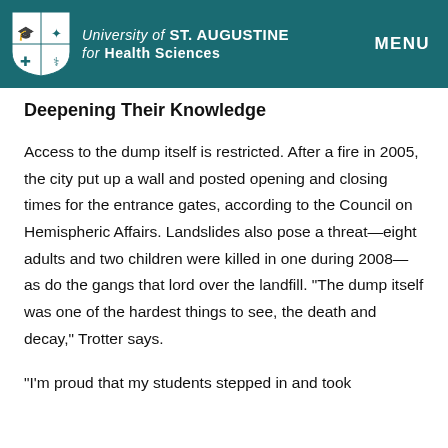University of St. Augustine for Health Sciences | MENU
Deepening Their Knowledge
Access to the dump itself is restricted. After a fire in 2005, the city put up a wall and posted opening and closing times for the entrance gates, according to the Council on Hemispheric Affairs. Landslides also pose a threat—eight adults and two children were killed in one during 2008—as do the gangs that lord over the landfill. “The dump itself was one of the hardest things to see, the death and decay,” Trotter says.
“I’m proud that my students stepped in and took